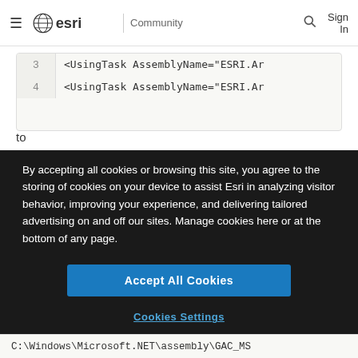esri Community
<UsingTask AssemblyName="ESRI.Ar
<UsingTask AssemblyName="ESRI.Ar
to
By accepting all cookies or browsing this site, you agree to the storing of cookies on your device to assist Esri in analyzing visitor behavior, improving your experience, and delivering tailored advertising on and off our sites. Manage cookies here or at the bottom of any page.
Accept All Cookies
Cookies Settings
C:\Windows\Microsoft.NET\assembly\GAC_MS